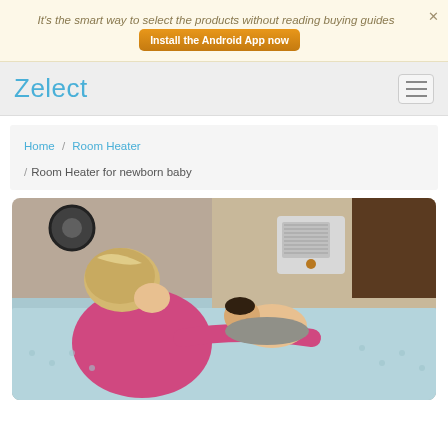It's the smart way to select the products without reading buying guides  Install the Android App now
Zelect
Home / Room Heater / Room Heater for newborn baby
[Figure (photo): A woman in a pink top leaning over a newborn baby lying on a light blue fluffy blanket. A small white room heater is visible in the background on a surface.]